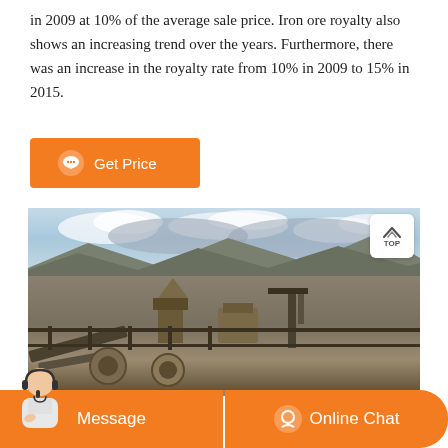in 2009 at 10% of the average sale price. Iron ore royalty also shows an increasing trend over the years. Furthermore, there was an increase in the royalty rate from 10% in 2009 to 15% in 2015.
[Figure (other): Orange 'Get Price' button with speech bubble icon]
[Figure (photo): Aerial/elevated view of an open-pit mining operation in a mountainous area, showing heavy machinery, conveyor belts, excavated terrain, and cloudy sky over distant mountains.]
[Figure (other): Bottom navigation bar with orange background showing a customer service representative avatar on the left, 'Message' button in the center-left, and 'Online Chat' button with headset icon on the right.]